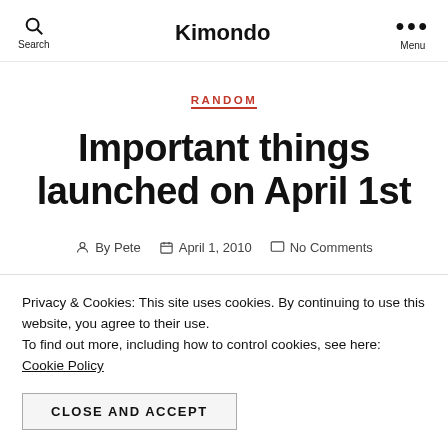Search   Kimondo   Menu
RANDOM
Important things launched on April 1st
By Pete   April 1, 2010   No Comments
Privacy & Cookies: This site uses cookies. By continuing to use this website, you agree to their use.
To find out more, including how to control cookies, see here: Cookie Policy
CLOSE AND ACCEPT